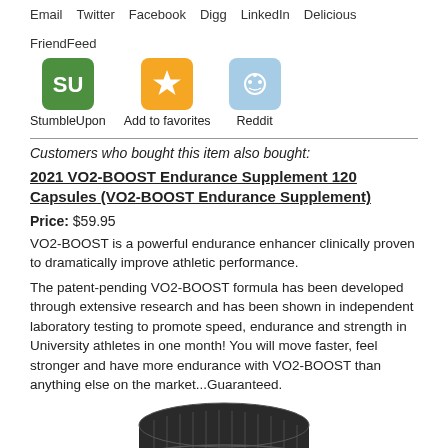Email  Twitter  Facebook  Digg  LinkedIn  Delicious  FriendFeed
[Figure (other): Three social sharing icon buttons: StumbleUpon (green), Add to favorites (orange star), Reddit (light blue alien)]
StumbleUpon   Add to favorites   Reddit
Customers who bought this item also bought:
2021 VO2-BOOST Endurance Supplement 120 Capsules (VO2-BOOST Endurance Supplement)
Price: $59.95
VO2-BOOST is a powerful endurance enhancer clinically proven to dramatically improve athletic performance.
The patent-pending VO2-BOOST formula has been developed through extensive research and has been shown in independent laboratory testing to promote speed, endurance and strength in University athletes in one month! You will move faster, feel stronger and have more endurance with VO2-BOOST than anything else on the market...Guaranteed.
[Figure (photo): Bottom portion of a dark ribbed cylindrical supplement bottle cap/container, black color, circular shape viewed from slightly above]